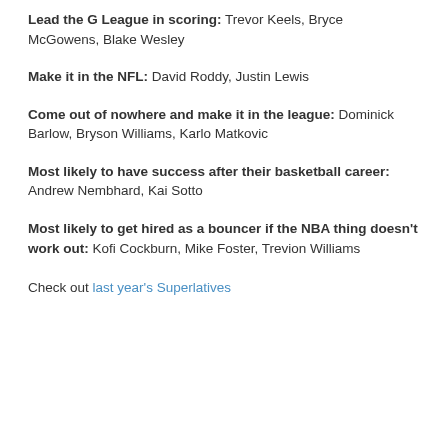Lead the G League in scoring: Trevor Keels, Bryce McGowens, Blake Wesley
Make it in the NFL: David Roddy, Justin Lewis
Come out of nowhere and make it in the league: Dominick Barlow, Bryson Williams, Karlo Matkovic
Most likely to have success after their basketball career: Andrew Nembhard, Kai Sotto
Most likely to get hired as a bouncer if the NBA thing doesn't work out: Kofi Cockburn, Mike Foster, Trevion Williams
Check out last year's Superlatives